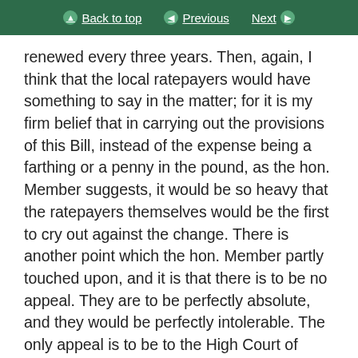Back to top  Previous  Next
renewed every three years. Then, again, I think that the local ratepayers would have something to say in the matter; for it is my firm belief that in carrying out the provisions of this Bill, instead of the expense being a farthing or a penny in the pound, as the hon. Member suggests, it would be so heavy that the ratepayers themselves would be the first to cry out against the change. There is another point which the hon. Member partly touched upon, and it is that there is to be no appeal. They are to be perfectly absolute, and they would be perfectly intolerable. The only appeal is to be to the High Court of Justice, and everybody knows what that means. The expense of an appeal of that kind would be extremely heavy, and as it would come out of the